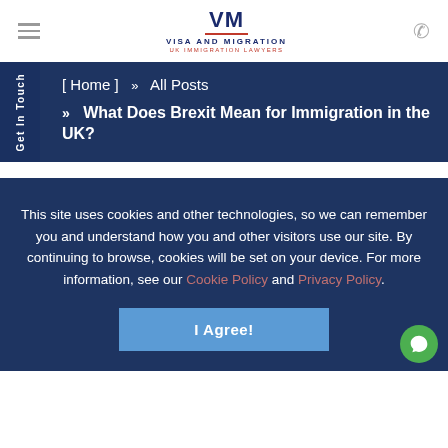[Figure (logo): VM Visa and Migration UK Immigration Lawyers logo]
[ Home ]  »  All Posts
»  What Does Brexit Mean for Immigration in the UK?
This site uses cookies and other technologies, so we can remember you and understand how you and other visitors use our site. By continuing to browse, cookies will be set on your device. For more information, see our Cookie Policy and Privacy Policy.
I Agree!